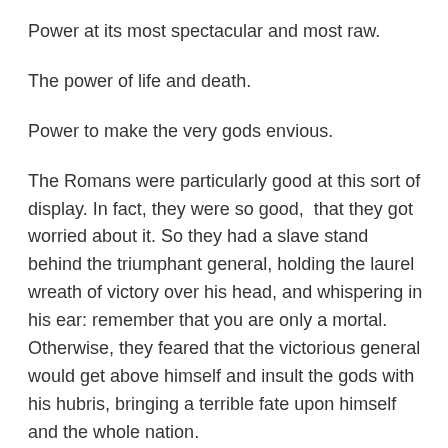Power at its most spectacular and most raw.
The power of life and death.
Power to make the very gods envious.
The Romans were particularly good at this sort of display. In fact, they were so good,  that they got worried about it. So they had a slave stand behind the triumphant general, holding the laurel wreath of victory over his head, and whispering in his ear: remember that you are only a mortal. Otherwise, they feared that the victorious general would get above himself and insult the gods with his hubris, bringing a terrible fate upon himself and the whole nation.
If this scene outside Jerusalem is a triumph, it's a pretty